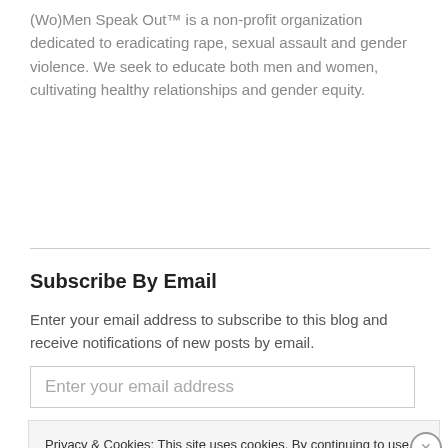(Wo)Men Speak Out™ is a non-profit organization dedicated to eradicating rape, sexual assault and gender violence. We seek to educate both men and women, cultivating healthy relationships and gender equity.
Subscribe By Email
Enter your email address to subscribe to this blog and receive notifications of new posts by email.
Enter your email address
Privacy & Cookies: This site uses cookies. By continuing to use this website, you agree to their use. To find out more, including how to control cookies, see here: Cookie Policy
Close and accept